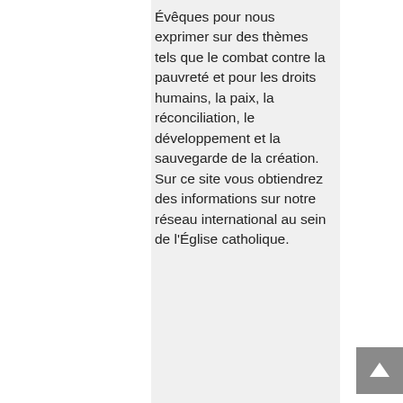Évêques pour nous exprimer sur des thèmes tels que le combat contre la pauvreté et pour les droits humains, la paix, la réconciliation, le développement et la sauvegarde de la création. Sur ce site vous obtiendrez des informations sur notre réseau international au sein de l'Église catholique.